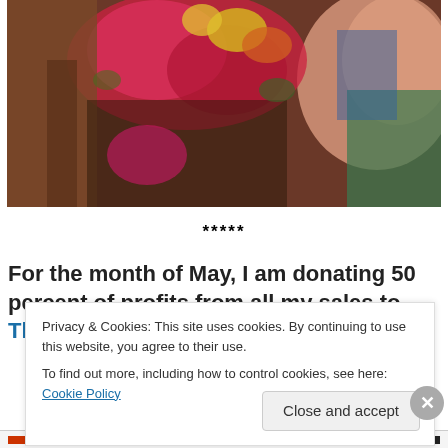[Figure (photo): Photo of a person with colorful floral headpiece, close-up, warm tones with red, pink, yellow flowers and green fabric.]
*****
For the month of May, I am donating 50 percent of profits from all my sales to The Microbe Discovery
Privacy & Cookies: This site uses cookies. By continuing to use this website, you agree to their use.
To find out more, including how to control cookies, see here: Cookie Policy
Close and accept